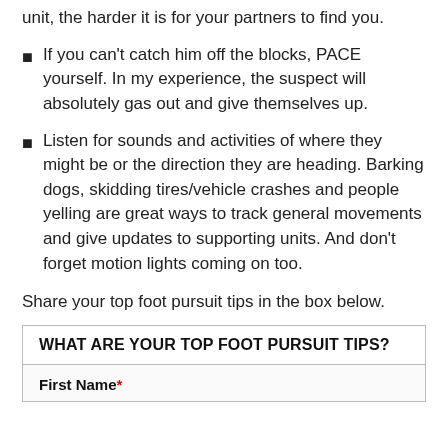unit, the harder it is for your partners to find you.
If you can't catch him off the blocks, PACE yourself. In my experience, the suspect will absolutely gas out and give themselves up.
Listen for sounds and activities of where they might be or the direction they are heading. Barking dogs, skidding tires/vehicle crashes and people yelling are great ways to track general movements and give updates to supporting units. And don't forget motion lights coming on too.
Share your top foot pursuit tips in the box below.
WHAT ARE YOUR TOP FOOT PURSUIT TIPS?
First Name*